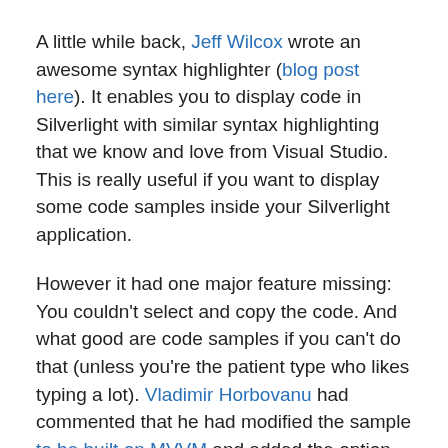A little while back, Jeff Wilcox wrote an awesome syntax highlighter (blog post here). It enables you to display code in Silverlight with similar syntax highlighting that we know and love from Visual Studio. This is really useful if you want to display some code samples inside your Silverlight application.
However it had one major feature missing: You couldn't select and copy the code. And what good are code samples if you can't do that (unless you're the patient type who likes typing a lot). Vladimir Horbovanu had commented that he had modified the sample to be built on MVVM and added the option of selecting and even editing the text. However, this only supported C# and not VB, JS, Xaml, C++ and Xml as the original